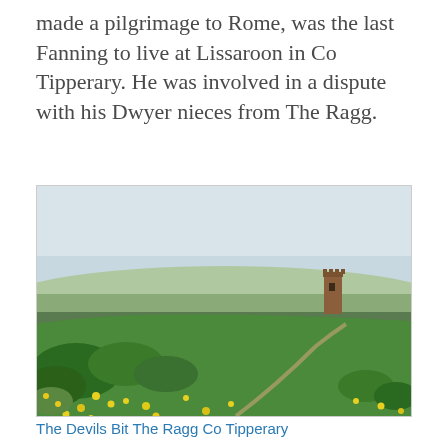made a pilgrimage to Rome, was the last Fanning to live at Lissaroon in Co Tipperary. He was involved in a dispute with his Dwyer nieces from The Ragg.
[Figure (photo): Landscape photograph taken from a hilltop showing a panoramic view of green fields and trees under an overcast sky. In the middle distance stands a stone tower (ruin). The foreground is filled with green grass, wild shrubs, and yellow wildflowers. A dirt path winds up the hill.]
The Devils Bit The Ragg Co Tipperary